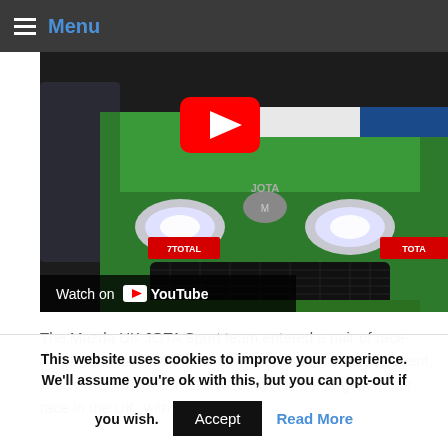Menu
[Figure (screenshot): Green Mazda MX-5 racing car with Total sponsorship livery, YouTube play button overlay, 'Watch on YouTube' bar at bottom of video thumbnail]
The Mazda UK JOTA Sport team entered a pair of race-prepared Mazda MX-5s and six drivers in the unique event, which was founded in 1951. Today it is the largest motor race in the UK, with a total of 70
This website uses cookies to improve your experience. We'll assume you're ok with this, but you can opt-out if you wish. Accept Read More